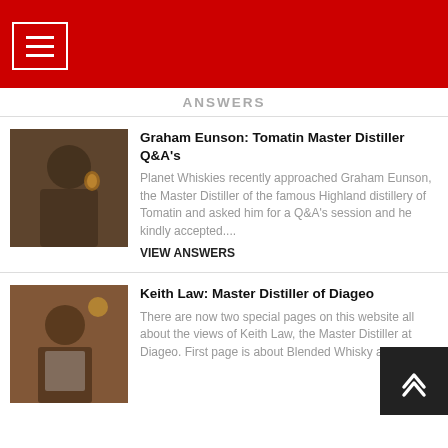≡
ANSWERS
[Figure (photo): Man in suit holding a whisky glass, seated near barrels]
Graham Eunson: Tomatin Master Distiller Q&A's
Planet Whiskies recently approached Graham Eunson, the Master Distiller of the famous Highland distillery of Tomatin and asked him for a Q&A's session and he kindly accepted....
VIEW ANSWERS
[Figure (photo): Man in white shirt examining or tasting whisky in a distillery setting]
Keith Law: Master Distiller of Diageo
There are now two special pages on this website all about the views of Keith Law, the Master Distiller at Diageo. First page is about Blended Whisky and Food